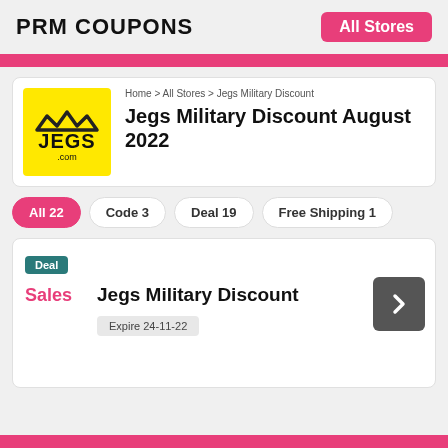PRM COUPONS   All Stores
Home > All Stores > Jegs Military Discount
Jegs Military Discount August 2022
All 22
Code 3
Deal 19
Free Shipping 1
Deal
Sales   Jegs Military Discount
Expire 24-11-22